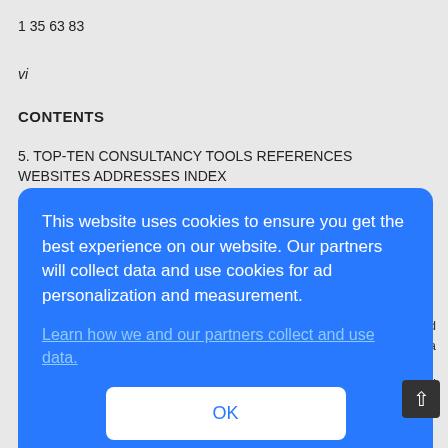1 35 63 83
vi
CONTENTS
5. TOP-TEN CONSULTANCY TOOLS REFERENCES WEBSITES ADDRESSES INDEX
[Figure (screenshot): Cookie consent modal overlay with blue background. Text reads: 'This website uses cookies to ensure you get the best experience on our website. Our partners will collect data and use cookies for ad personalization and measurement.' A link reads 'Learn how we and our partners collect and use data.' An OK button is shown below.]
have collected over the years. As such I am greatly indebted to all